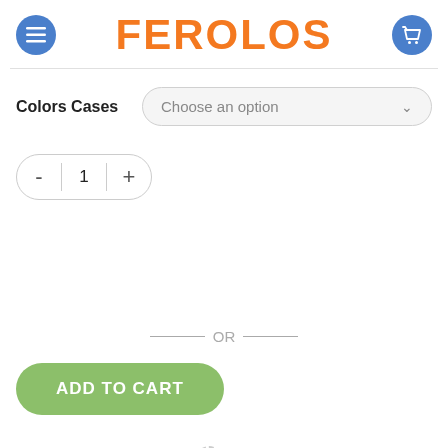[Figure (logo): Ferolos orange bold logo text with menu and cart blue circle buttons]
Colors Cases
[Figure (screenshot): Choose an option dropdown selector with chevron]
[Figure (screenshot): Quantity control with minus, 1, plus buttons in pill shape]
— OR —
[Figure (screenshot): Add to Cart green rounded button]
Add to Wishlist
[Figure (screenshot): Loading spinner icon]